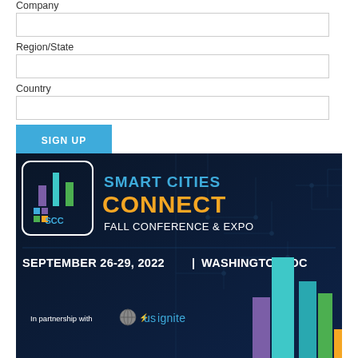Company
Region/State
Country
SIGN UP
[Figure (illustration): Smart Cities Connect Fall Conference & Expo banner. Dark navy blue background with circuit board patterns. SCC logo on left (stylized city skyline buildings in teal, green, purple with SCC text). Text reads: SMART CITIES CONNECT in blue and yellow/orange, FALL CONFERENCE & EXPO in white. SEPTEMBER 26-29, 2022 | WASHINGTON, DC in white bold. Bottom: In partnership with US Ignite logo. City skyline silhouettes in teal, green, purple on right side.]